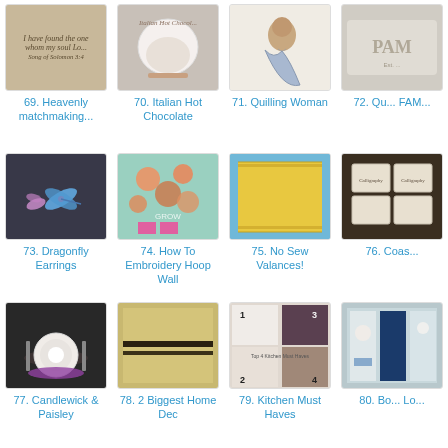[Figure (photo): Quote on tan background - I have found the one whom my soul loves]
69. Heavenly matchmaking...
[Figure (photo): Italian Hot Chocolate in a white cup with spoon and pastry]
70. Italian Hot Chocolate
[Figure (photo): Quilling art of a woman in blue dress]
71. Quilling Woman
[Figure (photo): Partially visible image - FAM sign]
72. Qu... FAM...
[Figure (photo): Dragonfly earrings in purple and blue on dark background]
73. Dragonfly Earrings
[Figure (photo): Embroidery hoop wall art with circles on aqua background]
74. How To Embroidery Hoop Wall
[Figure (photo): Yellow no-sew valance on blue background]
75. No Sew Valances!
[Figure (photo): Calligraphy coasters on dark wood table]
76. Coas...
[Figure (photo): Candlewick and Paisley table setting with purple accents]
77. Candlewick & Paisley
[Figure (photo): Gold/tan home decor image - 2 Biggest Home Dec]
78. 2 Biggest Home Dec
[Figure (photo): Kitchen must haves collage with numbered items]
79. Kitchen Must Haves
[Figure (photo): Bookshelf with blue and white decor]
80. Bo... Lo...